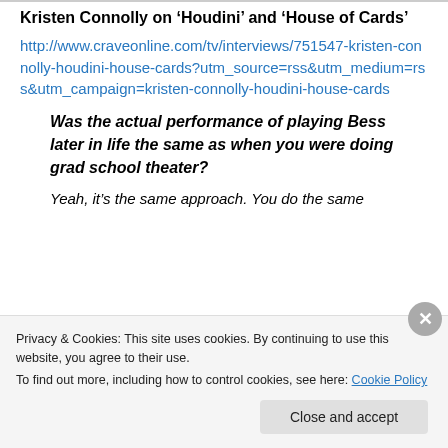Kristen Connolly on ‘Houdini’ and ‘House of Cards’
http://www.craveonline.com/tv/interviews/751547-kristen-connolly-houdini-house-cards?utm_source=rss&utm_medium=rss&utm_campaign=kristen-connolly-houdini-house-cards
Was the actual performance of playing Bess later in life the same as when you were doing grad school theater?
Yeah, it’s the same approach. You do the same
Privacy & Cookies: This site uses cookies. By continuing to use this website, you agree to their use.
To find out more, including how to control cookies, see here: Cookie Policy
Close and accept